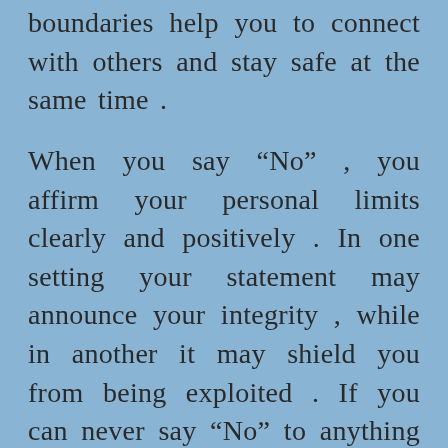boundaries help you to connect with others and stay safe at the same time .
When you say “No” , you affirm your personal limits clearly and positively . In one setting your statement may announce your integrity , while in another it may shield you from being exploited . If you can never say “No” to anything , it’s possible that you are being controlled by